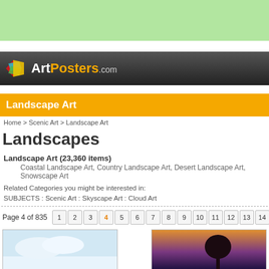[Figure (screenshot): Green banner bar at top of page]
ArtPosters.com
Landscape Art
Home > Scenic Art > Landscape Art
Landscapes
Landscape Art (23,360 items)
Coastal Landscape Art, Country Landscape Art, Desert Landscape Art, Snowscape Art
Related Categories you might be interested in:
SUBJECTS : Scenic Art : Skyscape Art : Cloud Art
Page 4 of 835   1  2  3  4  5  6  7  8  9  10  11  12  13  14  15  >>
[Figure (photo): Landscape art thumbnail (light blue sky)]
[Figure (photo): Landscape art thumbnail (tree silhouette at sunset/dusk)]